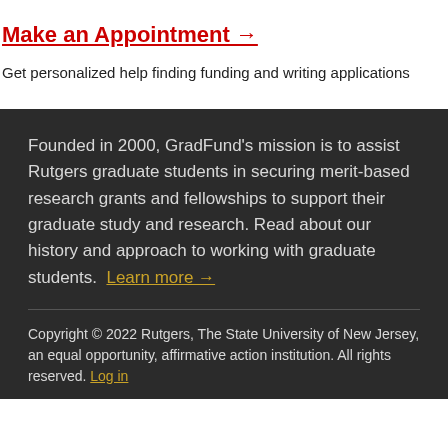Make an Appointment →
Get personalized help finding funding and writing applications
Founded in 2000, GradFund's mission is to assist Rutgers graduate students in securing merit-based research grants and fellowships to support their graduate study and research. Read about our history and approach to working with graduate students. Learn more →
Copyright © 2022 Rutgers, The State University of New Jersey, an equal opportunity, affirmative action institution. All rights reserved. Log in